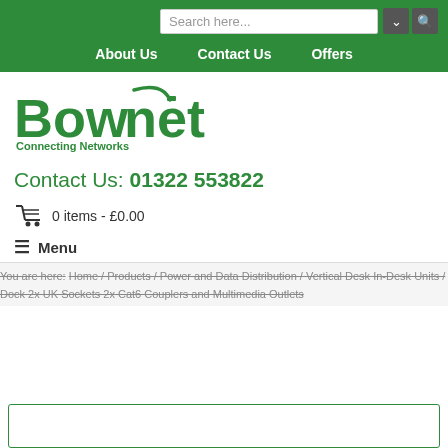Search here... [search bar with chevron and search icon]
About Us  Contact Us  Offers
[Figure (logo): Bownet logo with green text 'Bownet' and cable swoosh, subtitle 'Connecting Networks']
Contact Us: 01322 553822
0 items - £0.00
≡ Menu
You are here: Home / Products / Power and Data Distribution / Vertical Desk In-Desk Units / Dock 2x UK Sockets 2x Cat6 Couplers and Multimedia Outlets